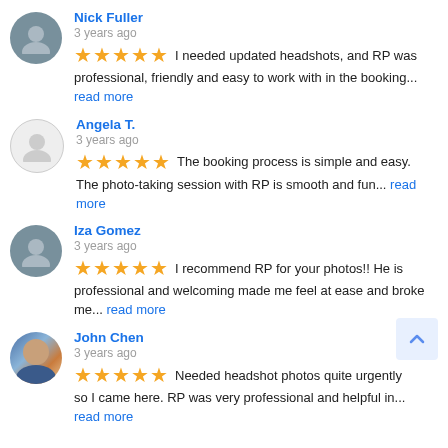Nick Fuller – 3 years ago – 5 stars – I needed updated headshots, and RP was professional, friendly and easy to work with in the booking... read more
Angela T. – 3 years ago – 5 stars – The booking process is simple and easy. The photo-taking session with RP is smooth and fun... read more
Iza Gomez – 3 years ago – 5 stars – I recommend RP for your photos!! He is professional and welcoming made me feel at ease and broke me... read more
John Chen – 3 years ago – 5 stars – Needed headshot photos quite urgently so I came here. RP was very professional and helpful in... read more